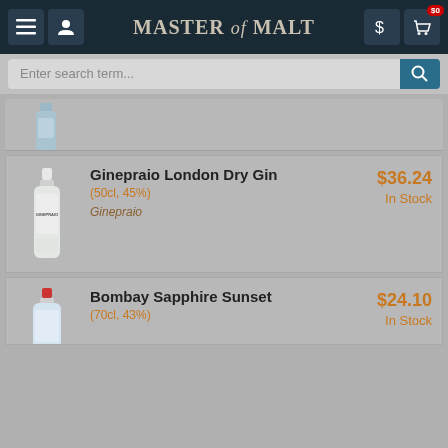Master of Malt
Enter search term...
[Figure (photo): Partial product card showing a blue gin bottle (cropped at top)]
Ginepraio London Dry Gin (50cl, 45%) Ginepraio $36.24 In Stock
[Figure (photo): Ginepraio London Dry Gin bottle photo]
Bombay Sapphire Sunset (70cl, 43%) $24.10 In Stock
[Figure (photo): Bombay Sapphire Sunset bottle photo]